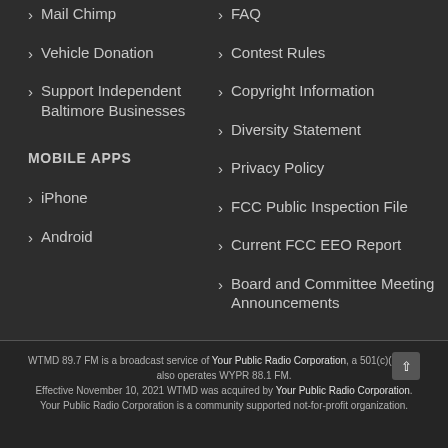Mail Chimp
Vehicle Donation
Support Independent Baltimore Businesses
MOBILE APPS
iPhone
Android
FAQ
Contest Rules
Copyright Information
Diversity Statement
Privacy Policy
FCC Public Inspection File
Current FCC EEO Report
Board and Committee Meeting Announcements
WTMD 89.7 FM is a broadcast service of Your Public Radio Corporation, a 501(c)(3) that also operates WYPR 88.1 FM. Effective November 10, 2021 WTMD was acquired by Your Public Radio Corporation. Your Public Radio Corporation is a community supported not-for-profit organization.